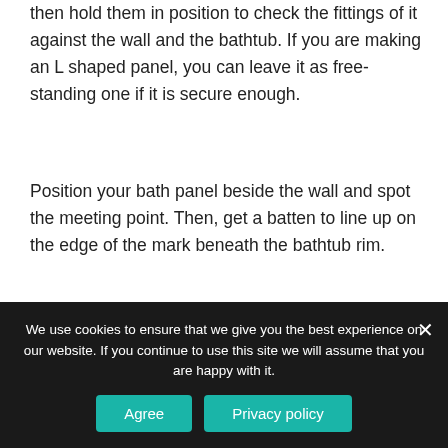then hold them in position to check the fittings of it against the wall and the bathtub. If you are making an L shaped panel, you can leave it as free-standing one if it is secure enough.
Position your bath panel beside the wall and spot the meeting point. Then, get a batten to line up on the edge of the mark beneath the bathtub rim.
Use screws or adhesive to fix it with the wall properly. You will have to do this same task for each of the points where the panels will meet the
We use cookies to ensure that we give you the best experience on our website. If you continue to use this site we will assume that you are happy with it.